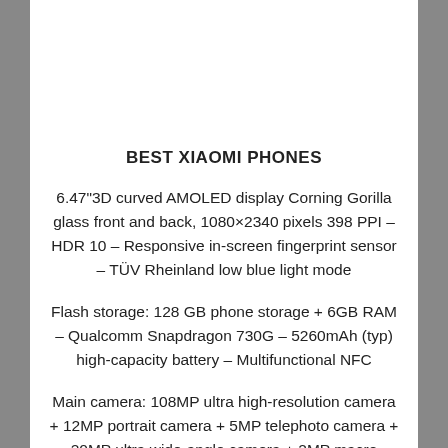BEST XIAOMI PHONES
6.47"3D curved AMOLED display Corning Gorilla glass front and back, 1080×2340 pixels 398 PPI – HDR 10 – Responsive in-screen fingerprint sensor – TÜV Rheinland low blue light mode
Flash storage: 128 GB phone storage + 6GB RAM – Qualcomm Snapdragon 730G – 5260mAh (typ) high-capacity battery – Multifunctional NFC
Main camera: 108MP ultra high-resolution camera + 12MP portrait camera + 5MP telephoto camera + 20MP ultra wide-angle camera + 2MP macro